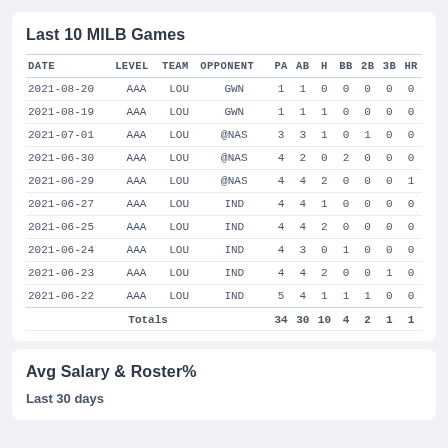Last 10 MILB Games
| DATE | LEVEL | TEAM | OPPONENT | PA | AB | H | BB | 2B | 3B | HR |
| --- | --- | --- | --- | --- | --- | --- | --- | --- | --- | --- |
| 2021-08-20 | AAA | LOU | GWN | 1 | 1 | 0 | 0 | 0 | 0 | 0 |
| 2021-08-19 | AAA | LOU | GWN | 1 | 1 | 1 | 0 | 0 | 0 | 0 |
| 2021-07-01 | AAA | LOU | @NAS | 3 | 3 | 1 | 0 | 1 | 0 | 0 |
| 2021-06-30 | AAA | LOU | @NAS | 4 | 2 | 0 | 2 | 0 | 0 | 0 |
| 2021-06-29 | AAA | LOU | @NAS | 4 | 4 | 2 | 0 | 0 | 0 | 1 |
| 2021-06-27 | AAA | LOU | IND | 4 | 4 | 1 | 0 | 0 | 0 | 0 |
| 2021-06-25 | AAA | LOU | IND | 4 | 4 | 2 | 0 | 0 | 0 | 0 |
| 2021-06-24 | AAA | LOU | IND | 4 | 3 | 0 | 1 | 0 | 0 | 0 |
| 2021-06-23 | AAA | LOU | IND | 4 | 4 | 2 | 0 | 0 | 1 | 0 |
| 2021-06-22 | AAA | LOU | IND | 5 | 4 | 1 | 1 | 1 | 0 | 0 |
| Totals |  |  |  | 34 | 30 | 10 | 4 | 2 | 1 | 1 |
Avg Salary & Roster%
Last 30 days